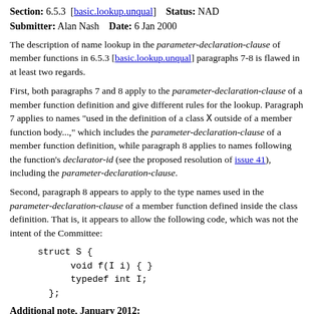Section: 6.5.3 [basic.lookup.unqual]  Status: NAD
Submitter: Alan Nash  Date: 6 Jan 2000
The description of name lookup in the parameter-declaration-clause of member functions in 6.5.3 [basic.lookup.unqual] paragraphs 7-8 is flawed in at least two regards.
First, both paragraphs 7 and 8 apply to the parameter-declaration-clause of a member function definition and give different rules for the lookup. Paragraph 7 applies to names "used in the definition of a class X outside of a member function body...," which includes the parameter-declaration-clause of a member function definition, while paragraph 8 applies to names following the function's declarator-id (see the proposed resolution of issue 41), including the parameter-declaration-clause.
Second, paragraph 8 appears to apply to the type names used in the parameter-declaration-clause of a member function defined inside the class definition. That is, it appears to allow the following code, which was not the intent of the Committee:
Additional note, January 2012: